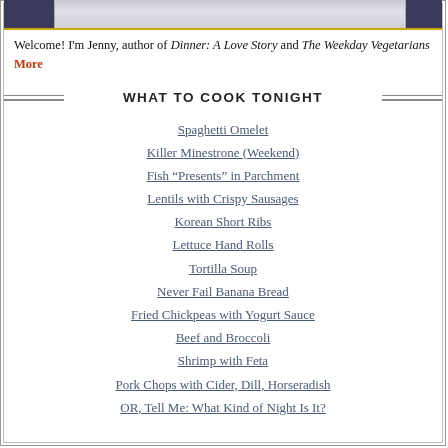[Figure (photo): Photo strip at top of page showing partial images on left and right sides with golden/yellow border at bottom]
Welcome! I'm Jenny, author of Dinner: A Love Story and The Weekday Vegetarians More
WHAT TO COOK TONIGHT
Spaghetti Omelet
Killer Minestrone (Weekend)
Fish "Presents" in Parchment
Lentils with Crispy Sausages
Korean Short Ribs
Lettuce Hand Rolls
Tortilla Soup
Never Fail Banana Bread
Fried Chickpeas with Yogurt Sauce
Beef and Broccoli
Shrimp with Feta
Pork Chops with Cider, Dill, Horseradish
OR, Tell Me: What Kind of Night Is It?